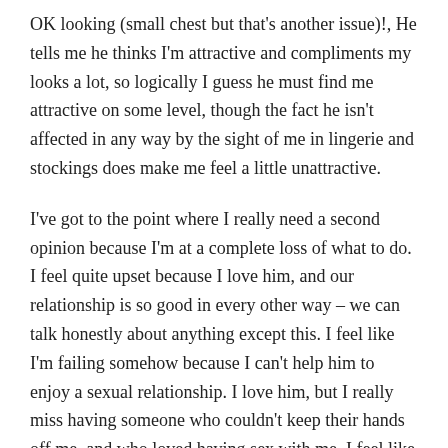OK looking (small chest but that's another issue)!, He tells me he thinks I'm attractive and compliments my looks a lot, so logically I guess he must find me attractive on some level, though the fact he isn't affected in any way by the sight of me in lingerie and stockings does make me feel a little unattractive.
I've got to the point where I really need a second opinion because I'm at a complete loss of what to do. I feel quite upset because I love him, and our relationship is so good in every other way – we can talk honestly about anything except this. I feel like I'm failing somehow because I can't help him to enjoy a sexual relationship. I love him, but I really miss having someone who couldn't keep their hands off me, and who loved having sex with me. I feel like having that intimacy would make our relationship complete – but as it is, we're floundering.
Does anyone have any ideas – I feel like I've tried everything. Even if I could get him to properly engage in a conversation about sex that would